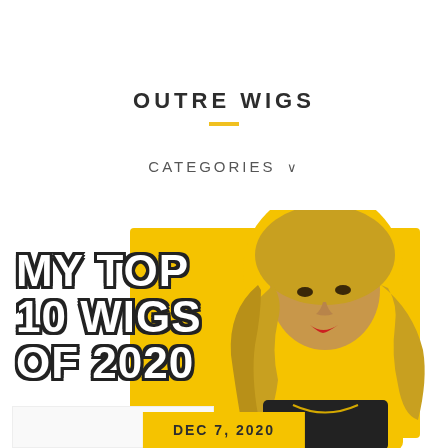OUTRE WIGS
CATEGORIES ∨
[Figure (photo): Blog post thumbnail showing a woman with long curly blonde ombre wig, wearing a black top, with yellow background cutout. Bold text overlay reads MY TOP 10 WIGS OF 2020 with black outline. A yellow date badge shows DEC 7, 2020.]